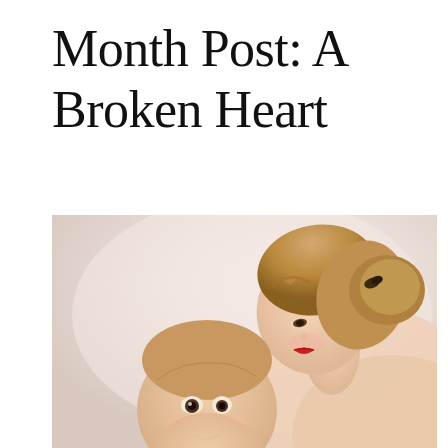Month Post: A Broken Heart
[Figure (photo): Vintage-style photograph of a smiling blonde woman with an updo hairstyle and red lipstick, leaning down toward a baby/toddler. Both are facing each other closely. Warm pinkish-beige background typical of 1950s-60s studio photography.]